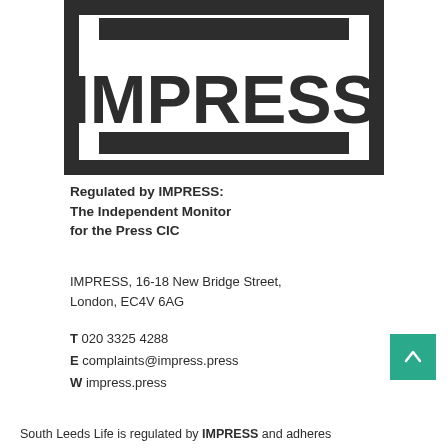[Figure (logo): IMPRESS logo — thick dark border rectangle with IMPRESS text in large bold black letters, dark bar beneath]
Regulated by IMPRESS: The Independent Monitor for the Press CIC
IMPRESS, 16-18 New Bridge Street, London, EC4V 6AG
T 020 3325 4288
E complaints@impress.press
W impress.press
South Leeds Life is regulated by IMPRESS and adheres